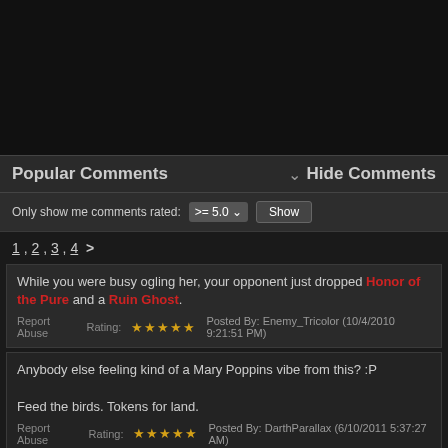[Figure (other): Black rectangle at top of page, appears to be a video or image placeholder]
Popular Comments   Hide Comments
Only show me comments rated: >= 5.0   Show
1 , 2 , 3 , 4  >
While you were busy ogling her, your opponent just dropped Honor of the Pure and a Ruin Ghost.
Report Abuse   Rating: ★★★★★   Posted By: Enemy_Tricolor (10/4/2010 9:21:51 PM)
Anybody else feeling kind of a Mary Poppins vibe from this? :P

Feed the birds. Tokens for land.
Report Abuse   Rating: ★★★★★   Posted By: DarthParallax (6/10/2011 5:37:27 AM)
The way I see it, this card forces the opponent to decide, "Do I terminate,